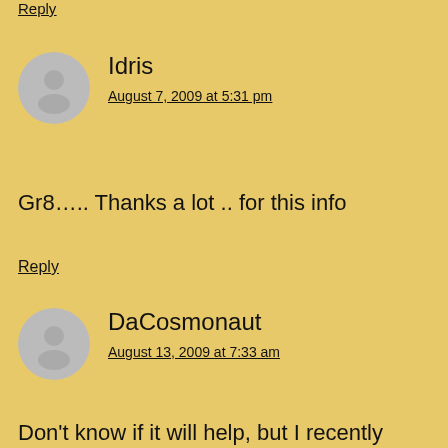Reply
Idris
August 7, 2009 at 5:31 pm
Gr8….. Thanks a lot .. for this info
Reply
DaCosmonaut
August 13, 2009 at 7:33 am
Don't know if it will help, but I recently bought